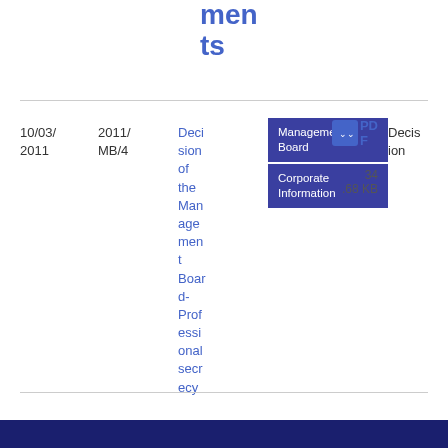ments
| Date | Ref | Title | Body | Type | File | Size |
| --- | --- | --- | --- | --- | --- | --- |
| 10/03/2011 | 2011/MB/4 | Decision of the Management Board-Professional secrecy | Management Board / Corporate Information | Decision | PDF | 34.68 KB |